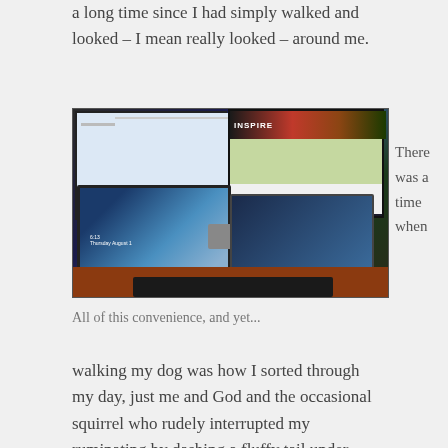a long time since I had simply walked and looked – I mean really looked – around me.
[Figure (photo): A desk with multiple monitors, a Microsoft Surface tablet with red keyboard cover showing time 6:13, a red phone case, a calculator, and a Samsung laptop, all on a wooden desk surface. The right monitor shows a website with 'INSPIRE' header.]
There was a time when
All of this convenience, and yet...
walking my dog was how I sorted through my day, just me and God and the occasional squirrel who rudely interrupted my ruminating by dashing a fluffy tail under